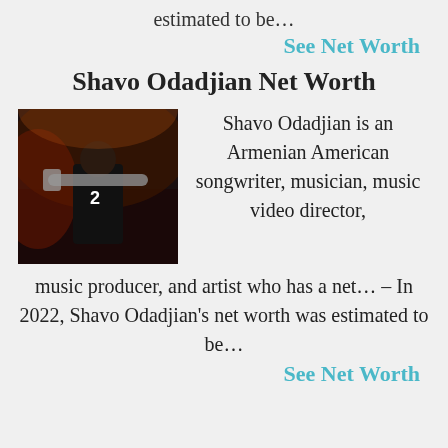estimated to be…
See Net Worth
Shavo Odadjian Net Worth
[Figure (photo): Photo of Shavo Odadjian playing bass guitar on stage with dramatic lighting]
Shavo Odadjian is an Armenian American songwriter, musician, music video director, music producer, and artist who has a net… – In 2022, Shavo Odadjian's net worth was estimated to be…
See Net Worth